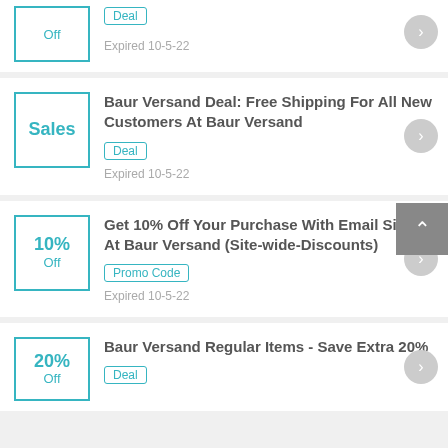[Figure (other): Partial coupon card showing 'Off' badge and 'Deal' tag, Expired 10-5-22]
Baur Versand Deal: Free Shipping For All New Customers At Baur Versand | Deal | Expired 10-5-22
Get 10% Off Your Purchase With Email Signup At Baur Versand (Site-wide-Discounts) | Promo Code | Expired 10-5-22
Baur Versand Regular Items - Save Extra 20% | Deal